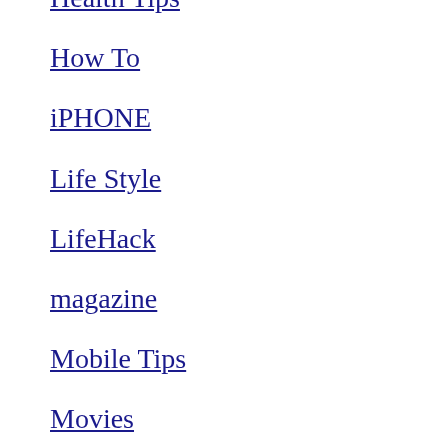Health Tips
How To
iPHONE
Life Style
LifeHack
magazine
Mobile Tips
Movies
NEWS
Offer & Coupons